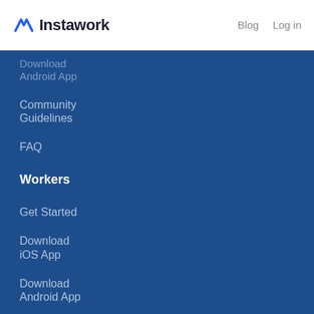Instawork  Blog  Log in
Download Android App
Community Guidelines
FAQ
Workers
Get Started
Download iOS App
Download Android App
Community